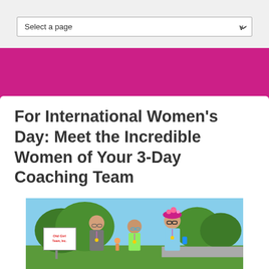Select a page
For International Women's Day: Meet the Incredible Women of Your 3-Day Coaching Team
[Figure (photo): Three women smiling and posing together outdoors on a sunny day at what appears to be a charity walk event. They are wearing athletic clothing and medals. One woman on the right wears a pink floral hat. A sign in the background reads text related to a team. Green grass and trees visible in the background.]